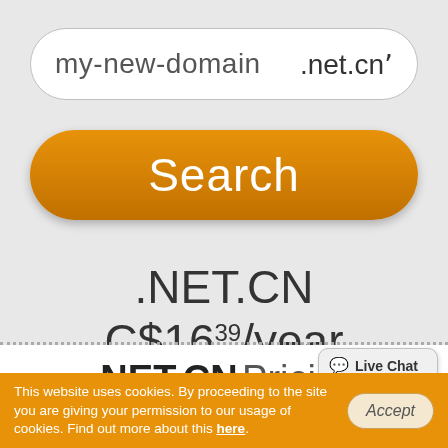[Figure (screenshot): Domain search input field showing 'my-new-domain' with '.net.cn' extension dropdown]
[Figure (screenshot): Orange rounded 'Search' button]
.NET.CN C$16.39/year
.NET.CN Pricing
[Figure (screenshot): Live Chat speech bubble widget]
This website uses cookies. By proceeding to the site you are giving your permission to our usage of cookies. Find out more about this here.